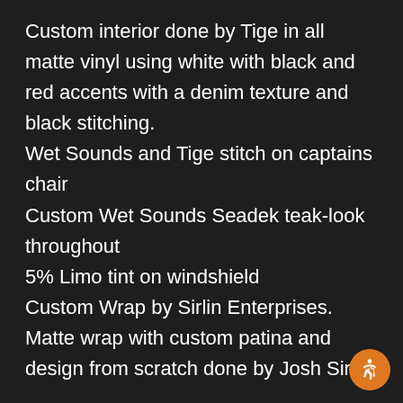Custom interior done by Tige in all matte vinyl using white with black and red accents with a denim texture and black stitching.
Wet Sounds and Tige stitch on captains chair
Custom Wet Sounds Seadek teak-look throughout
5% Limo tint on windshield
Custom Wrap by Sirlin Enterprises. Matte wrap with custom patina and design from scratch done by Josh Sirlin.
Stereo
Wet Sounds did the stereo installation in house with the help from their friend Corey who works for Mobile Innovations in Katy, Texas. The entire